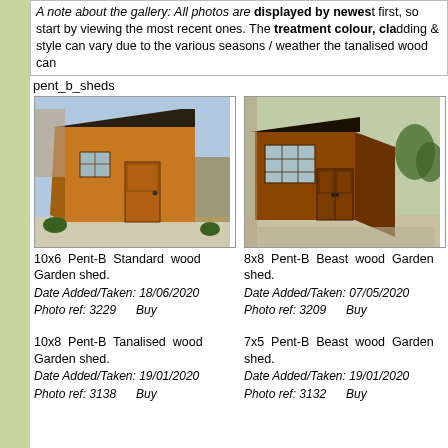A note about the gallery: All photos are displayed by newest first, so start by viewing the most recent ones. The treatment colour, cladding & style can vary due to the various seasons / weather the tanalised wood can
pent_b_sheds
[Figure (photo): 10x6 Pent-B Standard wood Garden shed, orange/honey coloured wood, pent roof]
10x6 Pent-B Standard wood Garden shed.
Date Added/Taken: 18/06/2020
Photo ref: 3229   Buy
[Figure (photo): 8x8 Pent-B Beast wood Garden shed, darker brown wood, pent roof]
8x8 Pent-B Beast wood Garden shed.
Date Added/Taken: 07/05/2020
Photo ref: 3209   Buy
10x8 Pent-B Tanalised wood Garden shed.
Date Added/Taken: 19/01/2020
Photo ref: 3138   Buy
7x5 Pent-B Beast wood Garden shed.
Date Added/Taken: 19/01/2020
Photo ref: 3132   Buy